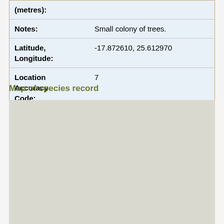| Field | Value |
| --- | --- |
| Notes: | Small colony of trees. |
| Latitude, Longitude: | -17.872610, 25.612970 |
| Location Accuracy Code: | 7 |
Map of species record
[Figure (map): A plain light grey map area showing a map of species record location, largely featureless/blank in the visible portion.]